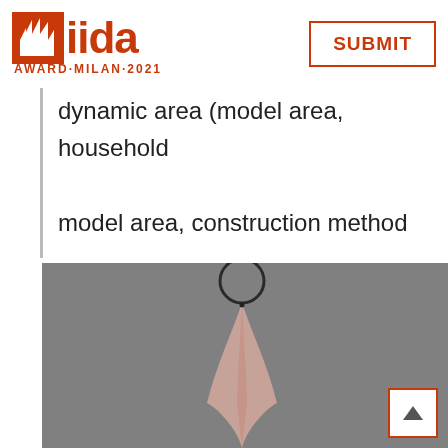[Figure (logo): IIDA Award Milan 2021 logo with orange cathedral icon and iida text, plus SUBMIT button with orange border]
dynamic area (model area, household model area, construction method material display area) )
[Figure (photo): Photo of a hanging fabric/drape object suspended from a circular ring against a grey background]